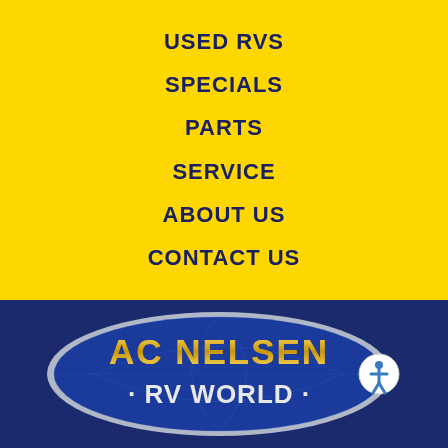USED RVS
SPECIALS
PARTS
SERVICE
ABOUT US
CONTACT US
[Figure (logo): AC Nelsen RV World logo — blue oval with globe background, gold and white text reading 'AC NELSEN' above '· RV WORLD ·']